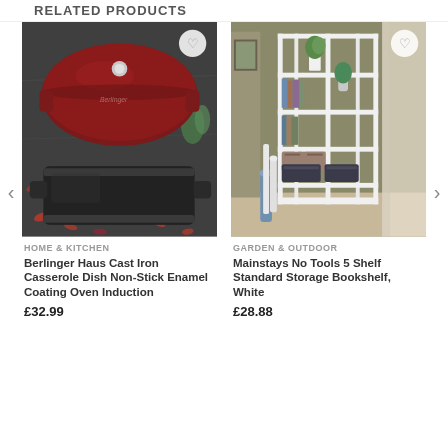RELATED PRODUCTS
[Figure (photo): Red Berlinger Haus cast iron casserole dish and black roasting pan on dark stone surface with scattered petals]
HOME & KITCHEN
Berlinger Haus Cast Iron Casserole Dish Non-Stick Enamel Coating Oven Induction
£32.99
[Figure (photo): White 5-shelf bookcase in a styled room with plants, books, and decorative boxes]
GARDEN & OUTDOOR
Mainstays No Tools 5 Shelf Standard Storage Bookshelf, White
£28.88